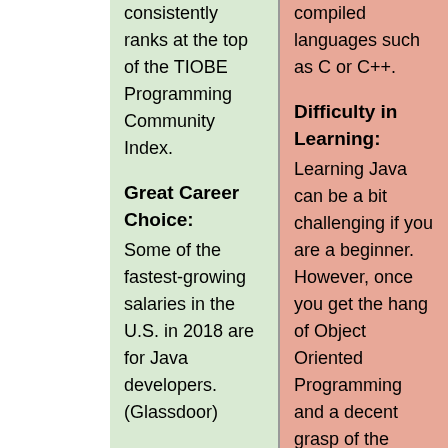consistently ranks at the top of the TIOBE Programming Community Index.
Great Career Choice:
Some of the fastest-growing salaries in the U.S. in 2018 are for Java developers. (Glassdoor)
Android Apps Development:
Developers predominatly use their Java skills in building apps
compiled languages such as C or C++.
Difficulty in Learning:
Learning Java can be a bit challenging if you are a beginner. However, once you get the hang of Object Oriented Programming and a decent grasp of the syntax, you will be well on your way.